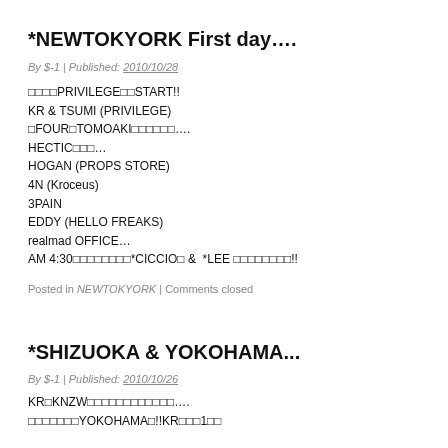*NEWTOKYORK First day....
By $-1 | Published: 2010/10/28
□□□□PRIVILEGE□□START!!
KR & TSUMI (PRIVILEGE)
□FOUR□TOMOAKI□□□□□□....
HECTIC□□□...
HOGAN (PROPS STORE)
4N (Kroceus)
3PAIN
EDDY (HELLO FREAKS)
realmad OFFICE…
AM 4:30□□□□□□□□*CICCIO□ &  *LEE □□□□□□□□!!
Posted in NEWTOKYORK | Comments closed
*SHIZUOKA & YOKOHAMA...
By $-1 | Published: 2010/10/26
KR□KNZW□□□□□□□□□□□□....
□□□□□□□YOKOHAMA□!!KR□□□1□□